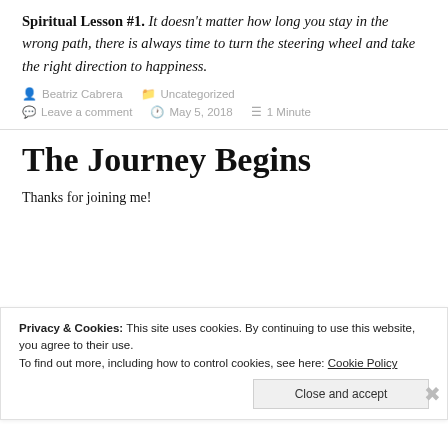Spiritual Lesson #1. It doesn't matter how long you stay in the wrong path, there is always time to turn the steering wheel and take the right direction to happiness.
Beatriz Cabrera   Uncategorized
Leave a comment   May 5, 2018   1 Minute
The Journey Begins
Thanks for joining me!
Privacy & Cookies: This site uses cookies. By continuing to use this website, you agree to their use. To find out more, including how to control cookies, see here: Cookie Policy
Close and accept